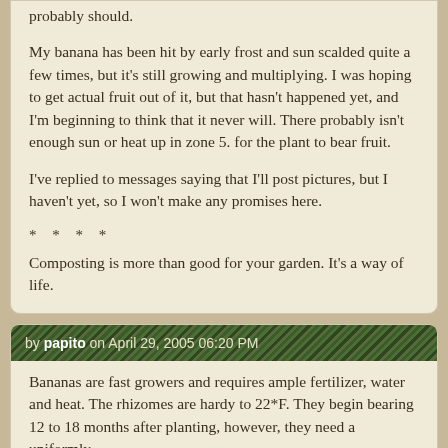probably should.
My banana has been hit by early frost and sun scalded quite a few times, but it's still growing and multiplying. I was hoping to get actual fruit out of it, but that hasn't happened yet, and I'm beginning to think that it never will. There probably isn't enough sun or heat up in zone 5. for the plant to bear fruit.
I've replied to messages saying that I'll post pictures, but I haven't yet, so I won't make any promises here.
* * * *
Composting is more than good for your garden. It's a way of life.
by papito on April 29, 2005 06:20 PM
Bananas are fast growers and requires ample fertilizer, water and heat. The rhizomes are hardy to 22*F. They begin bearing 12 to 18 months after planting, however, they need a uniformly